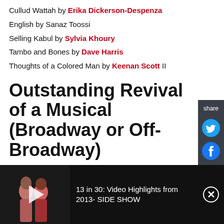Cullud Wattah by Erika Dickerson-Despenza
English by Sanaz Toossi
Selling Kabul by Sylvia Khoury
Tambo and Bones by Dave Harris
Thoughts of a Colored Man by Keenan Scott II
Outstanding Revival of a Musical (Broadway or Off-Broadway)
Assassins
Caroline, or Change
Company
[Figure (screenshot): Share panel with Twitter and Facebook icons on dark background]
[Figure (screenshot): Video bar at bottom with thumbnail of two performers in red dresses, and text: 13 in 30: Video Highlights from 2013- SIDE SHOW]